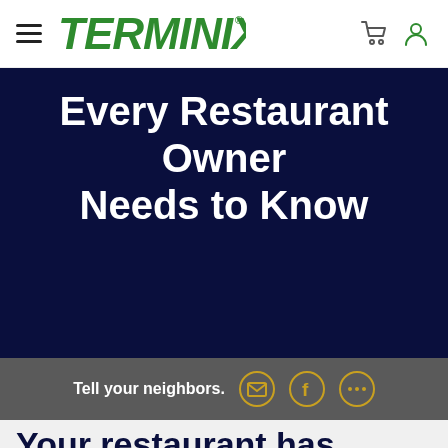[Figure (logo): Terminix logo in green italic bold font with registered trademark symbol]
Every Restaurant Owner Needs to Know
Tell your neighbors.
Your restaurant has